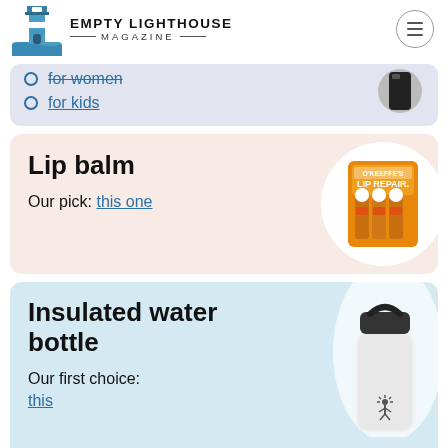EMPTY LIGHTHOUSE MAGAZINE
for women
for kids
Lip balm
Our pick: this one
[Figure (photo): O'Keeffe's Lip Repair lip balm product in orange packaging]
Insulated water bottle
Our first choice: this
[Figure (photo): White Hydro Flask insulated water bottle with black cap]